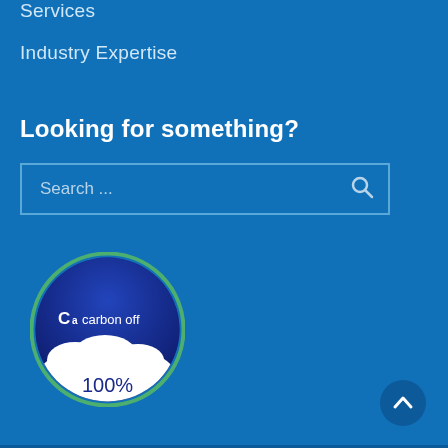Services
Industry Expertise
Looking for something?
Search ...
[Figure (logo): Carbon off badge logo with circular design showing dark blue sky with clouds at bottom, 'C carbon off' logo text in white at top, and '100%' in dark text at bottom on white cloud area. Surrounded by green ring border.]
[Figure (other): Scroll to top button - dark blue circle with white upward-pointing chevron arrow]